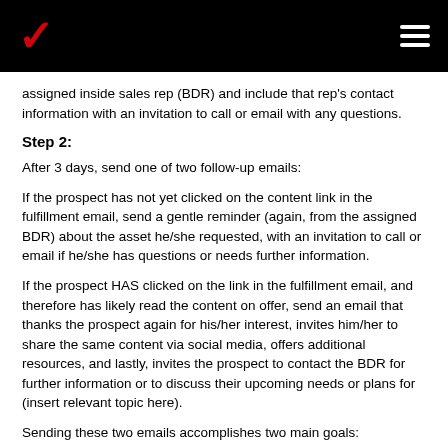Verizon logo and navigation
assigned inside sales rep (BDR) and include that rep's contact information with an invitation to call or email with any questions.
Step 2:
After 3 days, send one of two follow-up emails:
If the prospect has not yet clicked on the content link in the fulfillment email, send a gentle reminder (again, from the assigned BDR) about the asset he/she requested, with an invitation to call or email if he/she has questions or needs further information.
If the prospect HAS clicked on the link in the fulfillment email, and therefore has likely read the content on offer, send an email that thanks the prospect again for his/her interest, invites him/her to share the same content via social media, offers additional resources, and lastly, invites the prospect to contact the BDR for further information or to discuss their upcoming needs or plans for (insert relevant topic here).
Sending these two emails accomplishes two main goals: